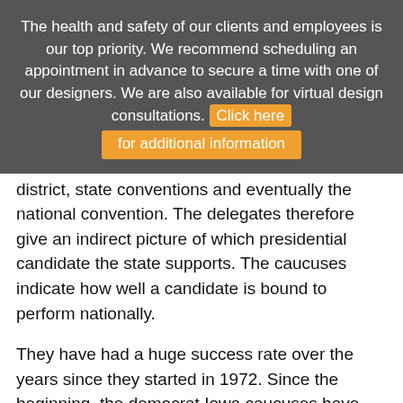The health and safety of our clients and employees is our top priority. We recommend scheduling an appointment in advance to secure a time with one of our designers. We are also available for virtual design consultations. Click here for additional information
district, state conventions and eventually the national convention. The delegates therefore give an indirect picture of which presidential candidate the state supports. The caucuses indicate how well a candidate is bound to perform nationally.
They have had a huge success rate over the years since they started in 1972. Since the beginning, the democrat Iowa caucuses have had a success rate of 43% while the republican Iowa caucuses have had a success rate of 50% at predicting which democrat or republican will win